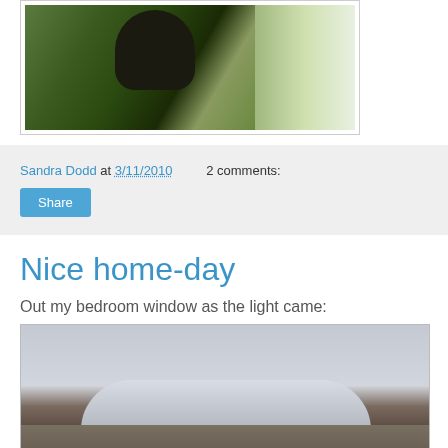[Figure (photo): A dark cat among green plants near a window]
Sandra Dodd at 3/11/2010   2 comments:
Share
Nice home-day
Out my bedroom window as the light came:
[Figure (photo): A snow-covered car viewed from a bedroom window]